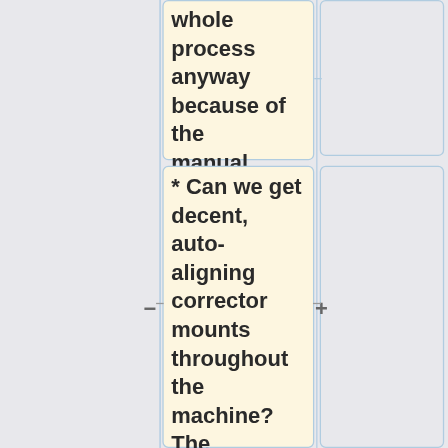whole process anyway because of the manual valve
* Can we get decent, auto-aligning corrector mounts throughout the machine? The multipole moments are currently uncontrollable, presumably large, which is a bigger deal than one might think because the beam line alignment also looks terrible
[Figure (flowchart): Flowchart diagram showing two text boxes in the center column connected by horizontal lines to boxes in the right column. Minus (-) and plus (+) symbols appear on the horizontal connectors. The top box contains text about 'whole process anyway because of the manual valve'. The bottom box contains a bullet point question about auto-aligning corrector mounts and multipole moments.]